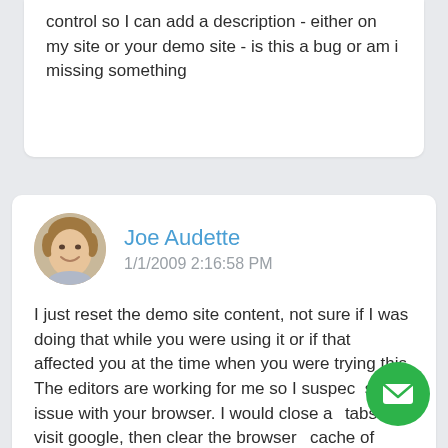control so I can add a description - either on my site or your demo site - is this a bug or am i missing something
Joe Audette
1/1/2009 2:16:58 PM
I just reset the demo site content, not sure if I was doing that while you were using it or if that affected you at the time when you were trying this. The editors are working for me so I suspect some issue with your browser. I would close all tabs and visit google, then clear the browser cache of temporary internet content, then try